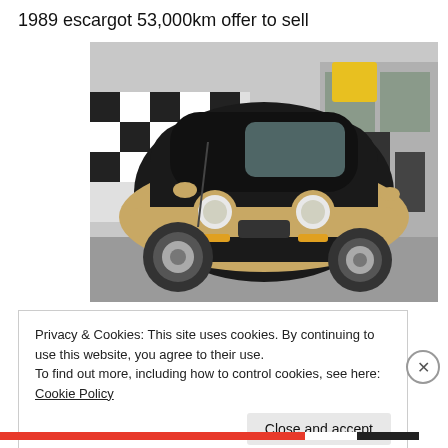1989 escargot 53,000km offer to sell
[Figure (photo): A 1989 Nissan S-Cargo (escargot) vehicle photographed from a front three-quarter angle. The compact van-style vehicle is black and gold/beige in color with round headlights, a distinctive rounded body, and is parked in what appears to be a parking lot with a tire shop visible in the background.]
Privacy & Cookies: This site uses cookies. By continuing to use this website, you agree to their use.
To find out more, including how to control cookies, see here: Cookie Policy
Close and accept